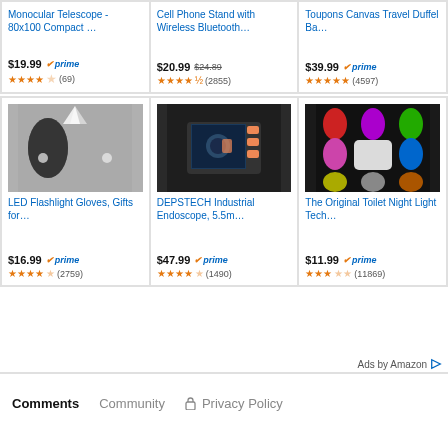[Figure (screenshot): Amazon ad grid with 6 product listings: Monocular Telescope, Cell Phone Stand, Toupons Canvas Travel Duffel Bag, LED Flashlight Gloves, DEPSTECH Industrial Endoscope, The Original Toilet Night Light]
Ads by Amazon
Comments   Community   Privacy Policy